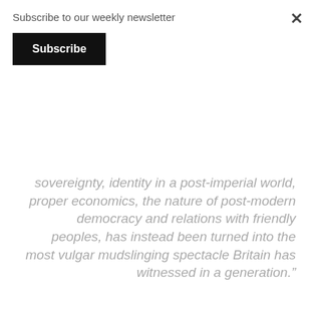Subscribe to our weekly newsletter
Subscribe
sovereignty, identity in a post-imperial world, proper economics, the nature of post-modern democracy and relations with friendly peoples, has instead been turned into the most vulgar mudslinging spectacle Britain has witnessed in a generation.”
But what for Estonia and Estonians? Estonia is a proudly independent country, its citizens are generally good people, beautiful people, intelligent people. But Estonia also has problems. Substitute the word Estonia for Britain and the statement remains factual. Estonians, like